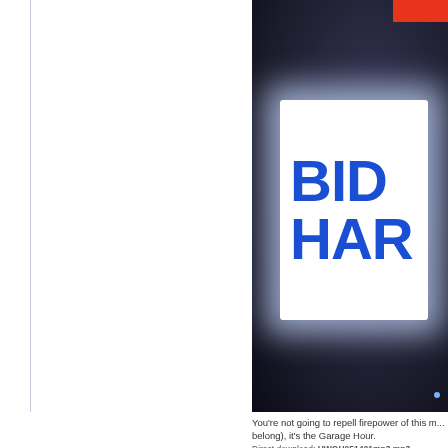[Figure (photo): Partially cropped photo showing a Biden-Harris campaign sign with blue text on white background, set against a dark background. A red element is visible in the top right corner, and a small blue dot in the bottom right.]
You're not going to repell firepower of this m... belong), it's the Garage Hour.
Direct download: HWGH051421mp3.mp3 Category: gearhead personality -- posted at: 9:15am